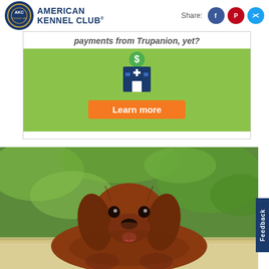American Kennel Club — Share: [Facebook] [Pinterest] [Twitter]
[Figure (infographic): Trupanion advertisement banner showing partial text 'payments from Trupanion, yet?' with a hospital/dollar-sign icon on a green background, and an orange 'Learn more' button]
[Figure (photo): Close-up photo of a brown/red Irish Setter puppy lying down, sticking its tongue out, with green foliage in the blurred background]
Feedback